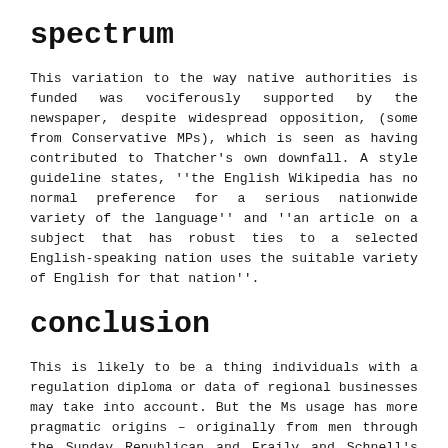spectrum
This variation to the way native authorities is funded was vociferously supported by the newspaper, despite widespread opposition, (some from Conservative MPs), which is seen as having contributed to Thatcher's own downfall. A style guideline states, ''the English Wikipedia has no normal preference for a serious nationwide variety of the language'' and ''an article on a subject that has robust ties to a selected English-speaking nation uses the suitable variety of English for that nation''.
conclusion
This is likely to be a thing individuals with a regulation diploma or data of regional businesses may take into account. But the Ms usage has more pragmatic origins – originally from men through the Sunday Republican and Fraily and Schnell's Sensible Enterprise Writing''.